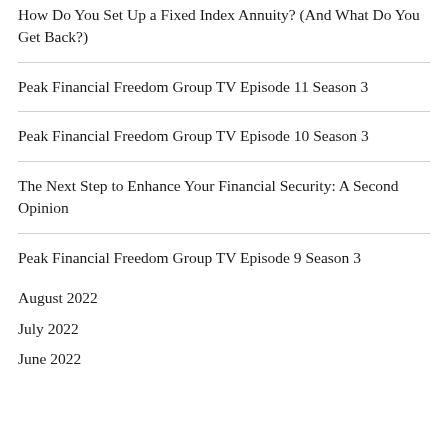How Do You Set Up a Fixed Index Annuity? (And What Do You Get Back?)
Peak Financial Freedom Group TV Episode 11 Season 3
Peak Financial Freedom Group TV Episode 10 Season 3
The Next Step to Enhance Your Financial Security: A Second Opinion
Peak Financial Freedom Group TV Episode 9 Season 3
August 2022
July 2022
June 2022